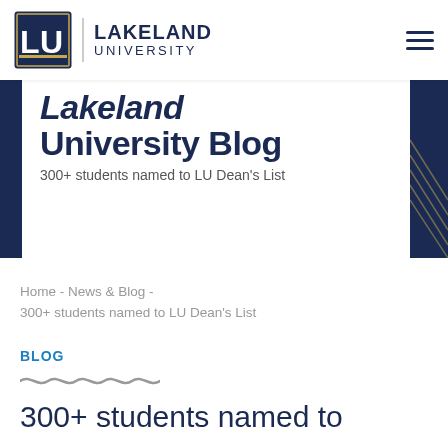[Figure (logo): Lakeland University logo with LU monogram and text]
Lakeland University Blog
300+ students named to LU Dean's List
Home - News & Blog - 300+ students named to LU Dean's List
BLOG
300+ students named to